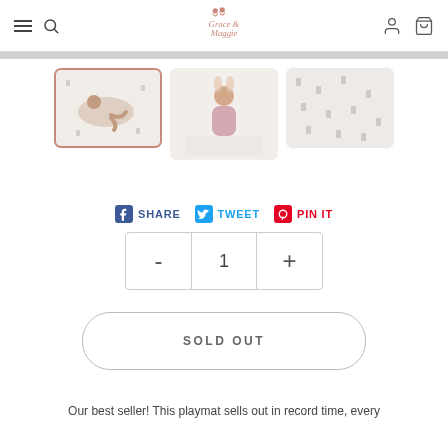Grace & Maggie — navigation header with menu, search, account, cart icons
[Figure (screenshot): Three product thumbnail images of a playmat: first shows a baby lying on a white mat with small prints (selected, rose border), second shows a toddler girl in pink sitting on the mat, third shows a close-up of the mat pattern.]
SHARE  TWEET  PIN IT
- 1 +
SOLD OUT
Our best seller! This playmat sells out in record time, every